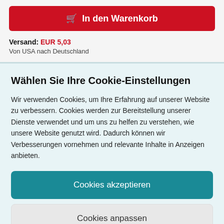[Figure (screenshot): Red 'In den Warenkorb' (Add to cart) button with shopping cart icon]
Versand: EUR 5,03
Von USA nach Deutschland
Wählen Sie Ihre Cookie-Einstellungen
Wir verwenden Cookies, um Ihre Erfahrung auf unserer Website zu verbessern. Cookies werden zur Bereitstellung unserer Dienste verwendet und um uns zu helfen zu verstehen, wie unsere Website genutzt wird. Dadurch können wir Verbesserungen vornehmen und relevante Inhalte in Anzeigen anbieten.
Cookies akzeptieren
Cookies anpassen